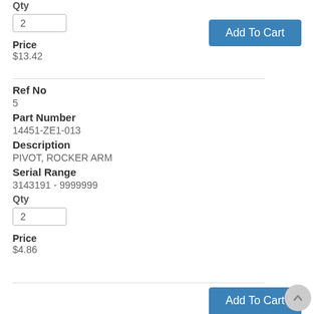Qty
2
Price
$13.42
Add To Cart
Ref No
5
Part Number
14451-ZE1-013
Description
PIVOT, ROCKER ARM
Serial Range
3143191 - 9999999
Qty
2
Price
$4.86
Add To Cart